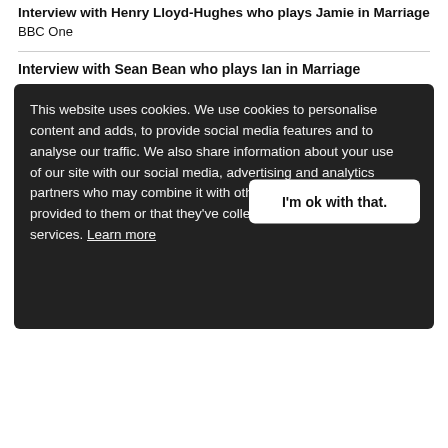Interview with Henry Lloyd-Hughes who plays Jamie in Marriage BBC One
Interview with Sean Bean who plays Ian in Marriage
This website uses cookies. We use cookies to personalise content and adds, to provide social media features and to analyse our traffic. We also share information about your use of our site with our social media, advertising and analytics partners who may combine it with other information that you've provided to them or that they've collected from your use of their services. Learn more
I'm ok with that.